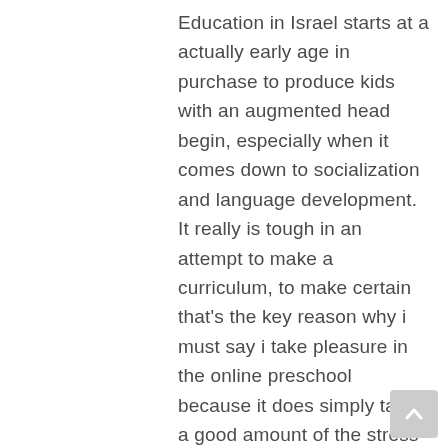Education in Israel starts at a actually early age in purchase to produce kids with an augmented head begin, especially when it comes down to socialization and language development. It really is tough in an attempt to make a curriculum, to make certain that's the key reason why i must say i take pleasure in the online preschool because it does simply take a good amount of the stress away from me personally, she explained. Our curriculum is currently utilized in over 21 states for the nation. To operate, a year that is early curriculum must be very very very carefully organized. What exactly is universal, nonetheless, is the fact that some type of education or